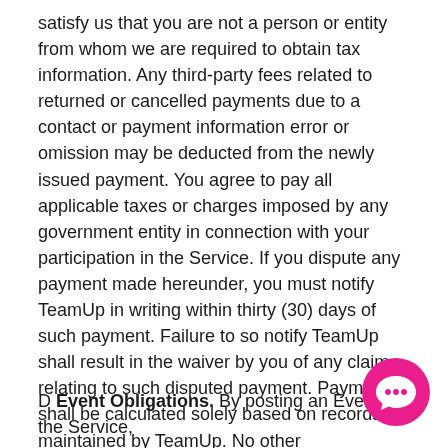satisfy us that you are not a person or entity from whom we are required to obtain tax information. Any third-party fees related to returned or cancelled payments due to a contact or payment information error or omission may be deducted from the newly issued payment. You agree to pay all applicable taxes or charges imposed by any government entity in connection with your participation in the Service. If you dispute any payment made hereunder, you must notify TeamUp in writing within thirty (30) days of such payment. Failure to so notify TeamUp shall result in the waiver by you of any claim relating to such disputed payment. Payment shall be calculated solely based on records maintained by TeamUp. No other measurements or statistics of any kind shall be accepted by TeamUp or have any effect under this Agreement. We may withhold any taxes or other amounts from payments due to you as required by
D Event Obligations. By posting an Event on the Service,